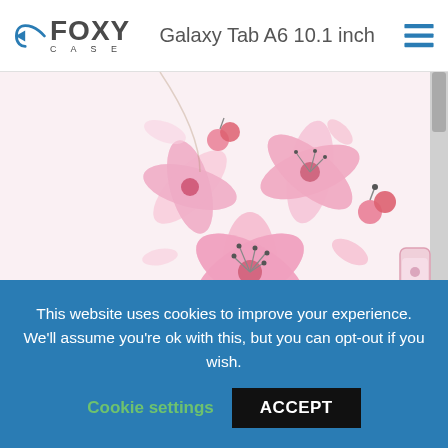Foxy Case — Galaxy Tab A6 10.1 inch
[Figure (photo): Product photo of a tablet case with pink cherry blossom / sakura floral pattern on white background, showing a book-style folio case with magnetic clasp on the right side.]
This website uses cookies to improve your experience. We'll assume you're ok with this, but you can opt-out if you wish.
Cookie settings   ACCEPT